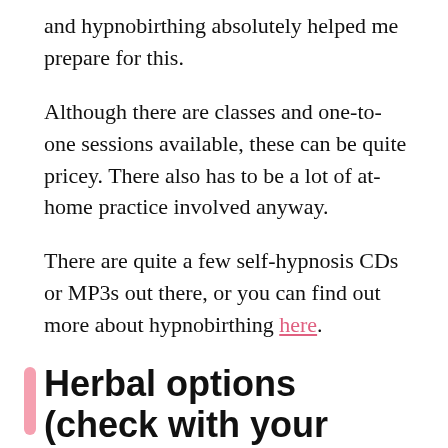and hypnobirthing absolutely helped me prepare for this.
Although there are classes and one-to-one sessions available, these can be quite pricey. There also has to be a lot of at-home practice involved anyway.
There are quite a few self-hypnosis CDs or MP3s out there, or you can find out more about hypnobirthing here.
Herbal options (check with your doctor first).